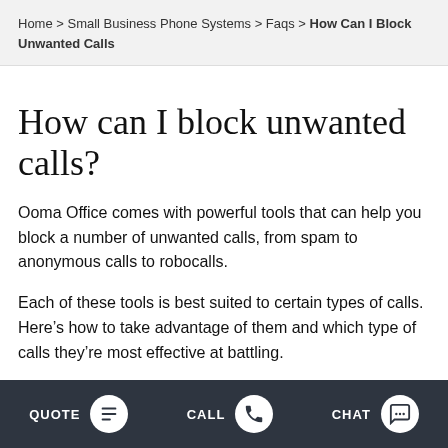Home > Small Business Phone Systems > Faqs > How Can I Block Unwanted Calls
How can I block unwanted calls?
Ooma Office comes with powerful tools that can help you block a number of unwanted calls, from spam to anonymous calls to robocalls.
Each of these tools is best suited to certain types of calls. Here’s how to take advantage of them and which type of calls they’re most effective at battling.
Block anonymous calls
QUOTE   CALL   CHAT